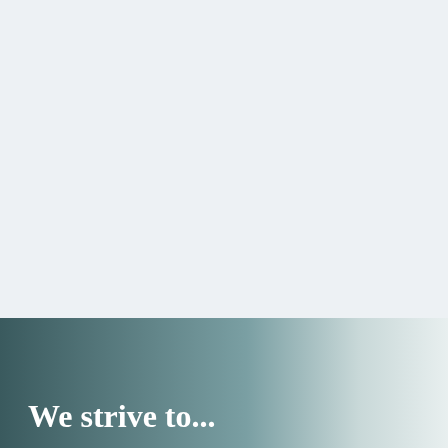[Figure (illustration): Light blue-grey background filling the upper portion of the page]
We strive to...